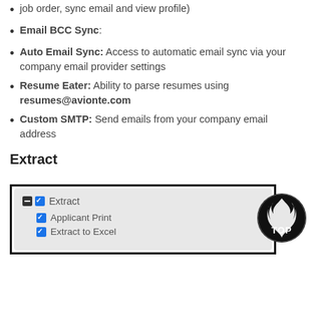job order, sync email and view profile)
Email BCC Sync:
Auto Email Sync: Access to automatic email sync via your company email provider settings
Resume Eater: Ability to parse resumes using resumes@avionte.com
Custom SMTP: Send emails from your company email address
Extract
[Figure (screenshot): Extract permissions panel showing checkboxes: Extract (checked, with minus toggle), Applicant Print (checked), Extract to Excel (checked)]
[Figure (logo): Avionte TOP logo - circular black logo with flames and TOP text]